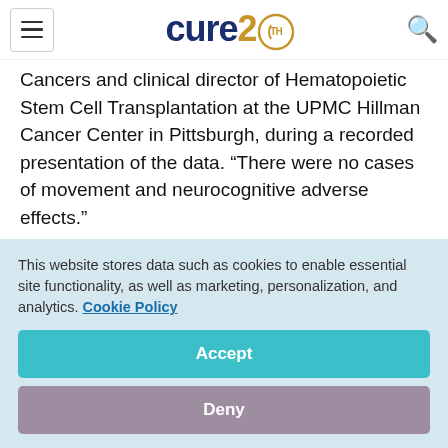cure 20th anniversary logo, hamburger menu, search icon
Cancers and clinical director of Hematopoietic Stem Cell Transplantation at the UPMC Hillman Cancer Center in Pittsburgh, during a recorded presentation of the data. “There were no cases of movement and neurocognitive adverse effects.”
Agha noted that one death occurred 100 days after the infusion, attributed to COVID-19 infection...
This website stores data such as cookies to enable essential site functionality, as well as marketing, personalization, and analytics. Cookie Policy
Accept
Deny